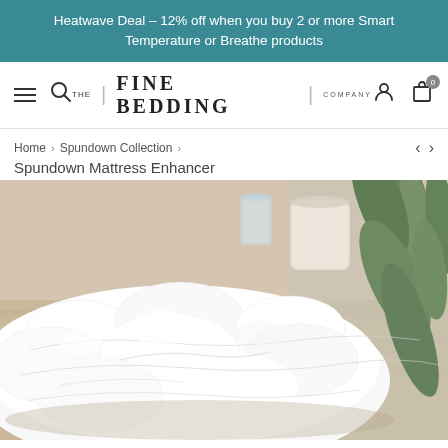Heatwave Deal – 12% off when you buy 2 or more Smart Temperature or Breathe products
[Figure (screenshot): The Fine Bedding Company navigation bar with hamburger menu, search icon, logo, account icon, and cart icon showing 0 items]
Home > Spundown Collection > Spundown Mattress Enhancer
Spundown Mattress Enhancer
[Figure (photo): Close-up photograph of a white quilted mattress enhancer/topper with button tufting, displayed on a wooden surface with a glass of water, a cream container, and green foliage in the background]